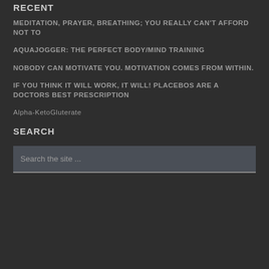RECENT
MEDITATION, PRAYER, BREATHING; YOU REALLY CAN'T AFFORD NOT TO
AQUAJOGGER: THE PERFECT BODY/MIND TRAINING
NOBODY CAN MOTIVATE YOU. MOTIVATION COMES FROM WITHIN.
IF YOU THINK IT WILL WORK, IT WILL! PLACEBOS ARE A DOCTORS BEST PRESCRIPTION
Alpha-KetoGluterate
SEARCH
Search the site ...